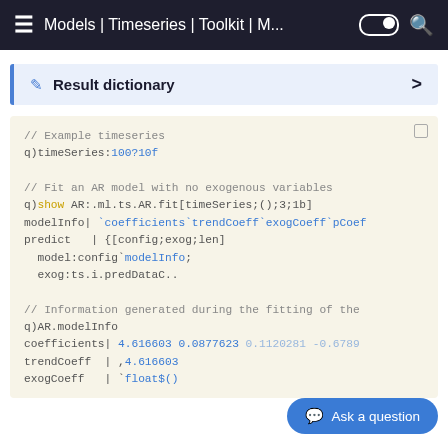Models | Timeseries | Toolkit | M...
Result dictionary
// Example timeseries
q)timeSeries:100?10f

// Fit an AR model with no exogenous variables
q)show AR:.ml.ts.AR.fit[timeSeries;();3;1b]
modelInfo| `coefficients`trendCoeff`exogCoeff`pCoef
predict  | {[config;exog;len]
  model:config`modelInfo;
  exog:ts.i.predDataC..

// Information generated during the fitting of the
q)AR.modelInfo
coefficients| 4.616603 0.0877623 0.1120281 -0.6789
trendCoeff  | ,4.616603
exogCoeff   | `float$()